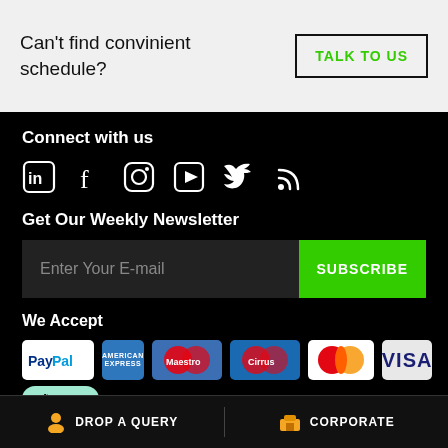Can't find convinient schedule?
TALK TO US
Connect with us
[Figure (infographic): Social media icons: LinkedIn, Facebook, Instagram, YouTube, Twitter, RSS]
Get Our Weekly Newsletter
Enter Your E-mail
SUBSCRIBE
We Accept
[Figure (infographic): Payment method logos: PayPal, American Express, Maestro, Cirrus, MasterCard, Visa, Afterpay]
DROP A QUERY   CORPORATE